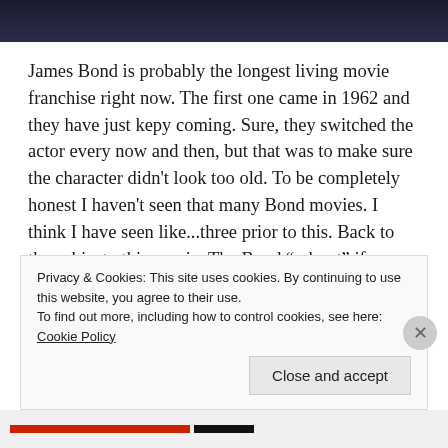[Figure (photo): Dark photograph strip at top of page, showing partial view of a person in dark clothing]
James Bond is probably the longest living movie franchise right now. The first one came in 1962 and they have just kepy coming. Sure, they switched the actor every now and then, but that was to make sure the character didn't look too old. To be completely honest I haven't seen that many Bond movies. I think I have seen like...three prior to this. Back to the subject...this movie. The Bond “reboot” if you will that got incredibly popular and had critics very pleased. But what did this guy right here think about it? This guy who has been skeptic
Privacy & Cookies: This site uses cookies. By continuing to use this website, you agree to their use.
To find out more, including how to control cookies, see here: Cookie Policy
Close and accept